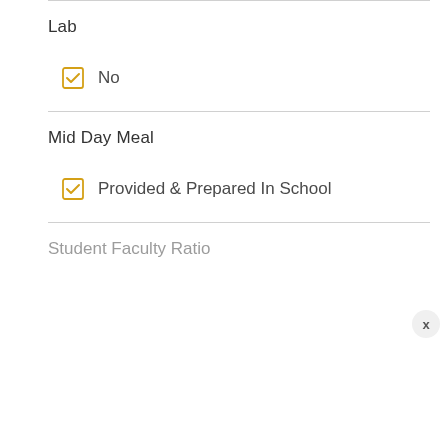Lab
No
Mid Day Meal
Provided & Prepared In School
Student Faculty Ratio